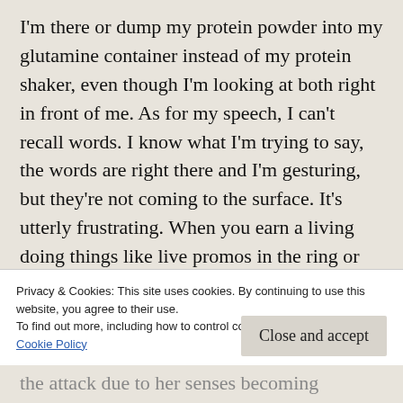I'm there or dump my protein powder into my glutamine container instead of my protein shaker, even though I'm looking at both right in front of me. As for my speech, I can't recall words. I know what I'm trying to say, the words are right there and I'm gesturing, but they're not coming to the surface. It's utterly frustrating. When you earn a living doing things like live promos in the ring or having to think on your feet, it can cause serious anxiety. Every live show, I go through a mini panic
Privacy & Cookies: This site uses cookies. By continuing to use this website, you agree to their use.
To find out more, including how to control cookies, see here:
Cookie Policy
Close and accept
the attack due to her senses becoming